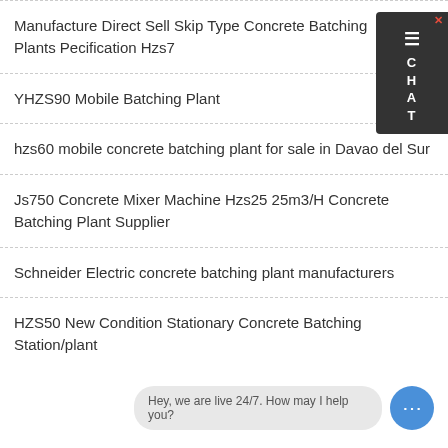Manufacture Direct Sell Skip Type Concrete Batching Plants Pecification Hzs7
YHZS90 Mobile Batching Plant
hzs60 mobile concrete batching plant for sale in Davao del Sur
Js750 Concrete Mixer Machine Hzs25 25m3/H Concrete Batching Plant Supplier
Schneider Electric concrete batching plant manufacturers
HZS50 New Condition Stationary Concrete Batching Station/plant